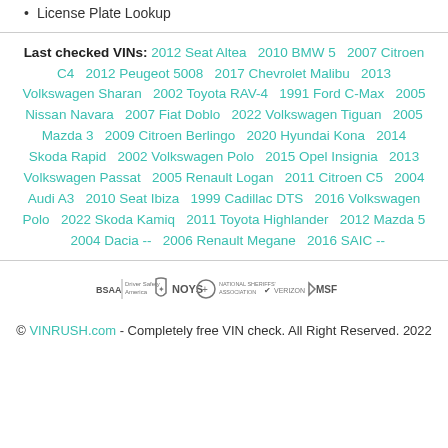License Plate Lookup
Last checked VINs: 2012 Seat Altea 2010 BMW 5 2007 Citroen C4 2012 Peugeot 5008 2017 Chevrolet Malibu 2013 Volkswagen Sharan 2002 Toyota RAV-4 1991 Ford C-Max 2005 Nissan Navara 2007 Fiat Doblo 2022 Volkswagen Tiguan 2005 Mazda 3 2009 Citroen Berlingo 2020 Hyundai Kona 2014 Skoda Rapid 2002 Volkswagen Polo 2015 Opel Insignia 2013 Volkswagen Passat 2005 Renault Logan 2011 Citroen C5 2004 Audi A3 2010 Seat Ibiza 1999 Cadillac DTS 2016 Volkswagen Polo 2022 Skoda Kamiq 2011 Toyota Highlander 2012 Mazda 5 2004 Dacia -- 2006 Renault Megane 2016 SAIC --
[Figure (logo): Row of partner/association logos: BSAA, NOYS, a shield icon, National Sheriffs Association, Verizon, MSF]
© VINRUSH.com - Completely free VIN check. All Right Reserved. 2022